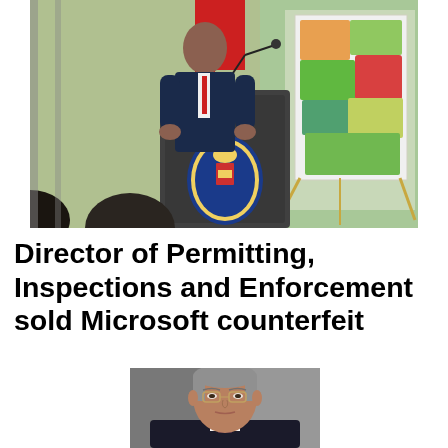[Figure (photo): A man in a dark suit speaking at a podium with a Prince George's County seal. A colorful county map is visible on an easel to the right, and a red flag is in the background.]
Director of Permitting, Inspections and Enforcement sold Microsoft counterfeit
[Figure (photo): Professional headshot of a middle-aged man with gray hair, wearing glasses and a dark suit, against a gray background.]